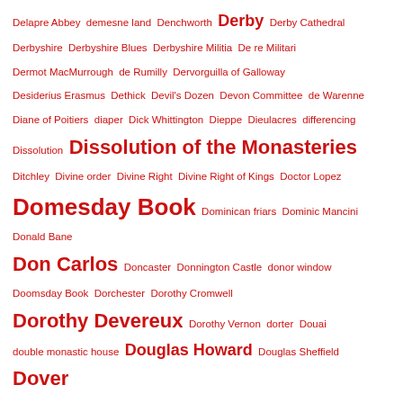Delapre Abbey demesne land Denchworth Derby Derby Cathedral
Derbyshire Derbyshire Blues Derbyshire Militia De re Militari
Dermot MacMurrough de Rumilly Dervorguilla of Galloway
Desiderius Erasmus Dethick Devil's Dozen Devon Committee de Warenne
Diane of Poitiers diaper Dick Whittington Dieppe Dieulacres differencing
Dissolution Dissolution of the Monasteries
Ditchley Divine order Divine Right Divine Right of Kings Doctor Lopez
Domesday Book Dominican friars Dominic Mancini Donald Bane
Don Carlos Doncaster Donnington Castle donor window
Doomsday Book Dorchester Dorothy Cromwell
Dorothy Devereux Dorothy Vernon dorter Douai
double monastic house Douglas Howard Douglas Sheffield Dover
Dover Castle Doveridge Dove Valley Dowager Duchess of Norfolk dower
Dowgate Hill dowry Dracula Dragsholm Drake's drum Drax Priory
Dr Eglesham Dr Ernest Wilkins Dr Ian Aird Dr John Dee
Dr John Tregonwell Dr Layton Dr Legh Dr Leigh
Dr Morton Archbishop of Rotherham Drogo of Mantes Dr Randall